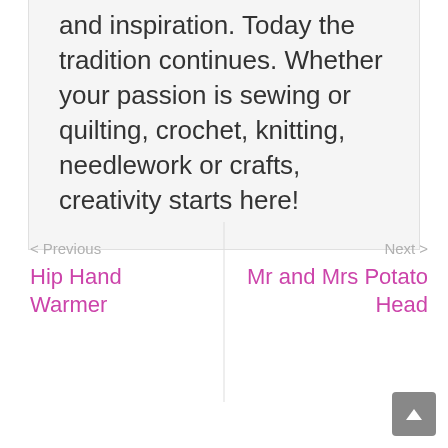and inspiration. Today the tradition continues. Whether your passion is sewing or quilting, crochet, knitting, needlework or crafts, creativity starts here!
< Previous
Hip Hand Warmer
Next >
Mr and Mrs Potato Head